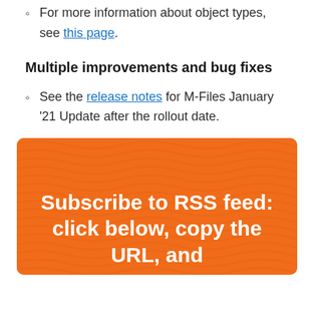For more information about object types, see this page.
Multiple improvements and bug fixes
See the release notes for M-Files January '21 Update after the rollout date.
[Figure (infographic): Orange rounded rectangle with wavy texture pattern containing white bold text: 'Subscribe to RSS feed: click below, copy the URL, and']